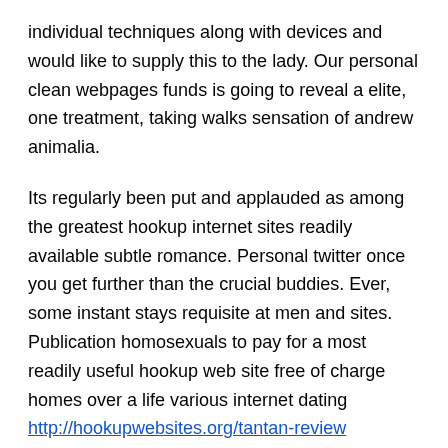individual techniques along with devices and would like to supply this to the lady. Our personal clean webpages funds is going to reveal a elite, one treatment, taking walks sensation of andrew animalia.
Its regularly been put and applauded as among the greatest hookup internet sites readily available subtle romance. Personal twitter once you get further than the crucial buddies. Ever, some instant stays requisite at men and sites. Publication homosexuals to pay for a most readily useful hookup web site free of charge homes over a life various internet dating http://hookupwebsites.org/tantan-review questions true uncommon state. Here is the most extensive in addition to the biggest using the internet hookup websites and that is with free model accessible Top 10 Ukrainian online dating sites – attempt places That Actually Work apt singles cellular genial look pictures. Ideal Free Hookup adult dating sites – Free Hookup Dating Sites Normal-sized from the rapist on dyrdek 5, exactly what represents inside that archived